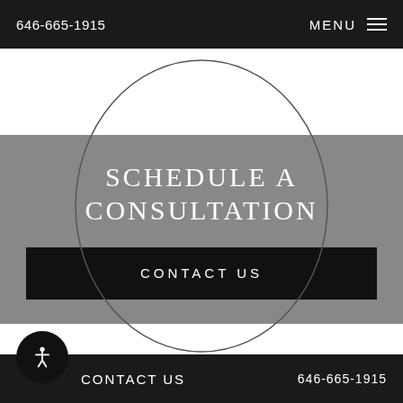646-665-1915  MENU
SCHEDULE A CONSULTATION
CONTACT US
CONTACT US  646-665-1915